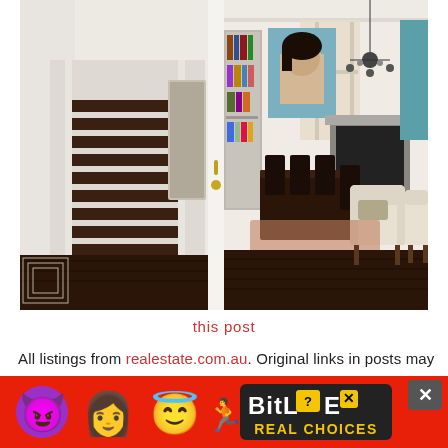[Figure (photo): Interior photo of a home showing a staircase on the left with dark wood treads and white risers, a mirror on the wall, and through an open doorway a dining room with dark wooden table, black chairs, cream upholstered armchairs, a chandelier, fireplace, built-in bookshelves, and large portrait artwork on the wall. Dark hardwood floors throughout.]
this post
All listings from realestate.com.au. Original links in posts may
[Figure (illustration): BitLife Real Choices advertisement banner with devil, woman, and angel emojis on a red background, BitLife logo with question mark badge and X button, and Real Choices text on dark background.]